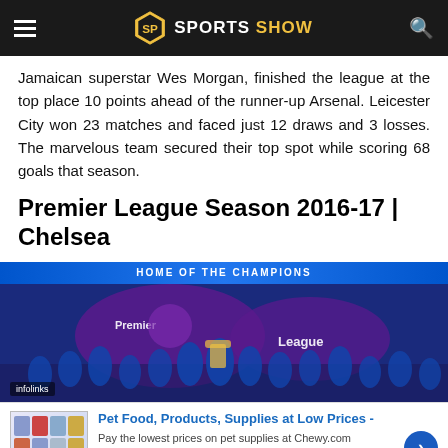SPORTS SHOW
Jamaican superstar Wes Morgan, finished the league at the top place 10 points ahead of the runner-up Arsenal. Leicester City won 23 matches and faced just 12 draws and 3 losses. The marvelous team secured their top spot while scoring 68 goals that season.
Premier League Season 2016-17 | Chelsea
[Figure (photo): Chelsea team celebrating Premier League championship with trophy, crowd and Premier League banner in background. 'infolinks' watermark visible.]
Pet Food, Products, Supplies at Low Prices - Pay the lowest prices on pet supplies at Chewy.com chewy.com